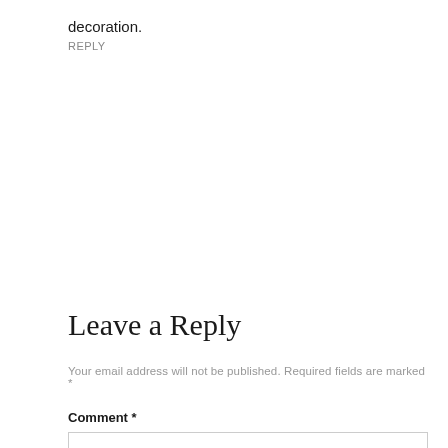decoration.
REPLY
Leave a Reply
Your email address will not be published. Required fields are marked *
Comment *